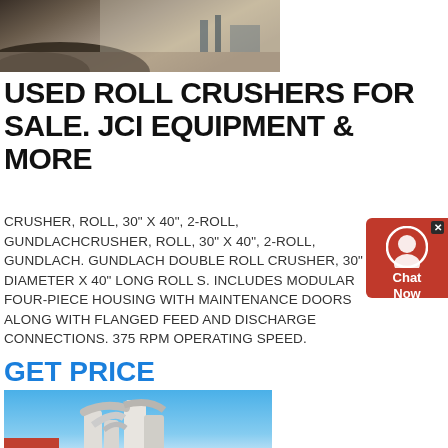[Figure (photo): Aerial or field view of an industrial/mining site with dark material (coal or gravel) and machinery in background]
USED ROLL CRUSHERS FOR SALE. JCI EQUIPMENT & MORE
CRUSHER, ROLL, 30" X 40", 2-ROLL, GUNDLACHCRUSHER, ROLL, 30" X 40", 2-ROLL, GUNDLACH. GUNDLACH DOUBLE ROLL CRUSHER, 30" DIAMETER X 40" LONG ROLL S. INCLUDES MODULAR FOUR-PIECE HOUSING WITH MAINTENANCE DOORS ALONG WITH FLANGED FEED AND DISCHARGE CONNECTIONS. 375 RPM OPERATING SPEED.
GET PRICE
[Figure (photo): Industrial grinding mill or classifier equipment with white cylindrical structures, piping, and red building in background against blue sky]